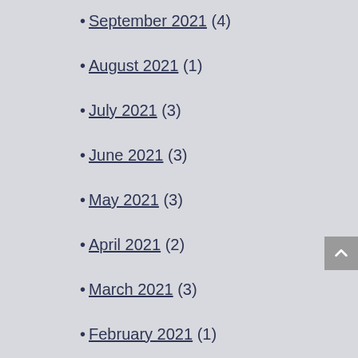• September 2021 (4)
• August 2021 (1)
• July 2021 (3)
• June 2021 (3)
• May 2021 (3)
• April 2021 (2)
• March 2021 (3)
• February 2021 (1)
• December 2020 (6)